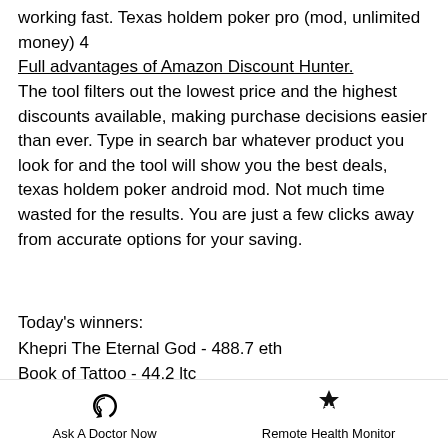working fast. Texas holdem poker pro (mod, unlimited money) 4
Full advantages of Amazon Discount Hunter. The tool filters out the lowest price and the highest discounts available, making purchase decisions easier than ever. Type in search bar whatever product you look for and the tool will show you the best deals, texas holdem poker android mod. Not much time wasted for the results. You are just a few clicks away from accurate options for your saving.
Today's winners:
Khepri The Eternal God - 488.7 eth
Book of Tattoo - 44.2 ltc
Opera Night - 565.3 usdt
The Legendary Red Dragon - 308 bch
Triple Magic - 514.9 ltc
Ask A Doctor Now   Remote Health Monitor